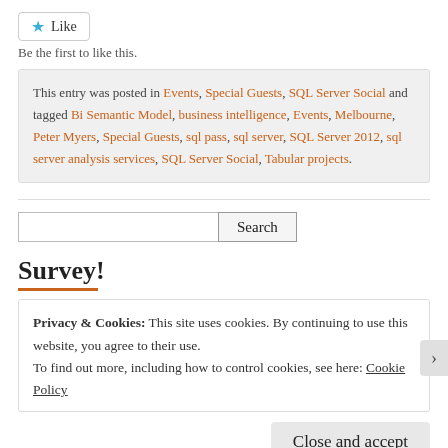Like
Be the first to like this.
This entry was posted in Events, Special Guests, SQL Server Social and tagged Bi Semantic Model, business intelligence, Events, Melbourne, Peter Myers, Special Guests, sql pass, sql server, SQL Server 2012, sql server analysis services, SQL Server Social, Tabular projects.
Search
Survey!
Privacy & Cookies: This site uses cookies. By continuing to use this website, you agree to their use.
To find out more, including how to control cookies, see here: Cookie Policy
Close and accept